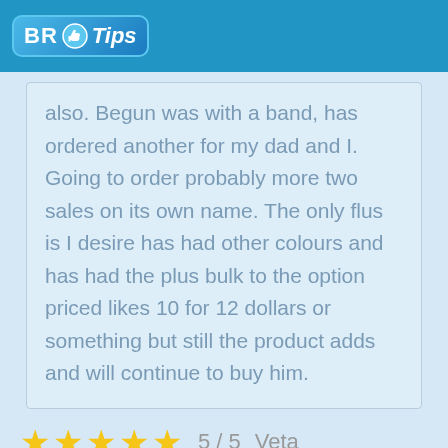BR Tips
also. Begun was with a band, has ordered another for my dad and I. Going to order probably more two sales on its own name. The only flus is I desire has had other colours and has had the plus bulk to the option priced likes 10 for 12 dollars or something but still the product adds and will continue to buy him.
5 / 5   Veta
Has had to return this element because it was too big so that it has required partorisca. But if precise